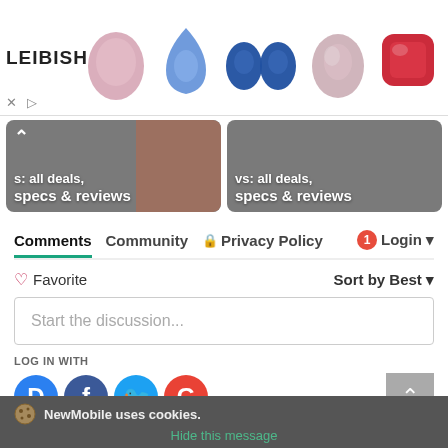[Figure (screenshot): Leibish jewelry ad banner with gemstones: pink oval, blue pear, blue oval pair, pink oval, red cushion]
[Figure (screenshot): Two overlapping article cards with text 'vs. all deals, specs & reviews' on gray backgrounds with a chevron up icon]
Comments   Community   🔒 Privacy Policy   🔴1   Login ▾
♡ Favorite                                         Sort by Best ▾
Start the discussion...
LOG IN WITH
[Figure (screenshot): Social login icons: Disqus (blue D), Facebook (dark blue f), Twitter (light blue bird), Google (red G)]
OR SIGN UP WITH DISQUS
NewMobile uses cookies.
Hide this message
Name